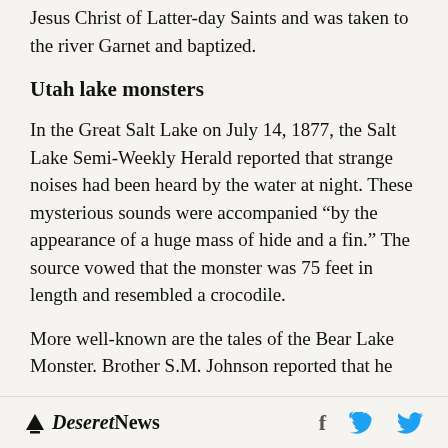Jesus Christ of Latter-day Saints and was taken to the river Garnet and baptized.
Utah lake monsters
In the Great Salt Lake on July 14, 1877, the Salt Lake Semi-Weekly Herald reported that strange noises had been heard by the water at night. These mysterious sounds were accompanied “by the appearance of a huge mass of hide and a fin.” The source vowed that the monster was 75 feet in length and resembled a crocodile.
More well-known are the tales of the Bear Lake Monster. Brother S.M. Johnson reported that he
Deseret News